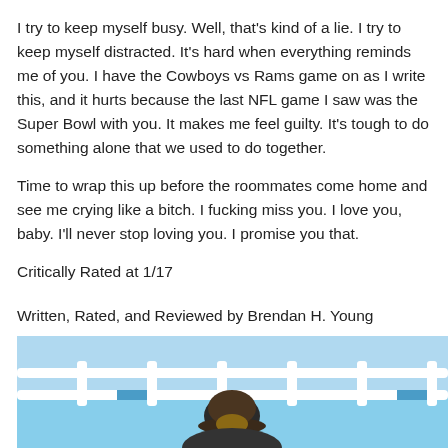I try to keep myself busy. Well, that's kind of a lie. I try to keep myself distracted. It's hard when everything reminds me of you. I have the Cowboys vs Rams game on as I write this, and it hurts because the last NFL game I saw was the Super Bowl with you. It makes me feel guilty. It's tough to do something alone that we used to do together.
Time to wrap this up before the roommates come home and see me crying like a bitch. I fucking miss you. I love you, baby. I'll never stop loving you. I promise you that.
Critically Rated at 1/17
Written, Rated, and Reviewed by Brendan H. Young
[Figure (photo): Photo of a person wearing a dark cap, seated outdoors with white railings/chairs visible and a blue sky background]